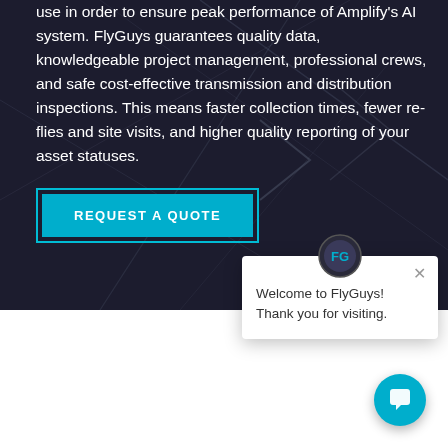use in order to ensure peak performance of Amplify's AI system. FlyGuys guarantees quality data, knowledgeable project management, professional crews, and safe cost-effective transmission and distribution inspections. This means faster collection times, fewer re-flies and site visits, and higher quality reporting of your asset statuses.
[Figure (screenshot): REQUEST A QUOTE button — cyan/teal filled button with outer border outline]
[Figure (screenshot): FlyGuys chat popup widget with FG logo avatar, close X button, and welcome message 'Welcome to FlyGuys! Thank you for visiting.']
Implement a Drone Inspection